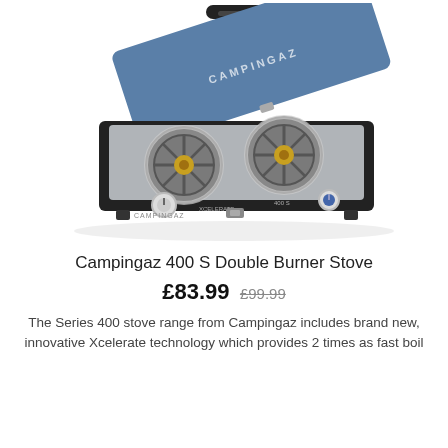[Figure (photo): Campingaz 400 S Double Burner Stove — a portable gas stove with a blue hinged lid open, two circular burners on a grey cooking surface, two control knobs on the front, with a black carry handle on top.]
Campingaz 400 S Double Burner Stove
£83.99  £99.99
The Series 400 stove range from Campingaz includes brand new, innovative Xcelerate technology which provides 2 times as fast boil